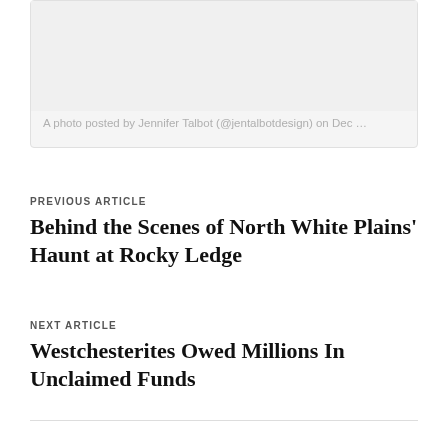[Figure (photo): Photo card with light gray placeholder image area]
A photo posted by Jennifer Talbot (@jentalbotdesign) on Dec …
PREVIOUS ARTICLE
Behind the Scenes of North White Plains' Haunt at Rocky Ledge
NEXT ARTICLE
Westchesterites Owed Millions In Unclaimed Funds